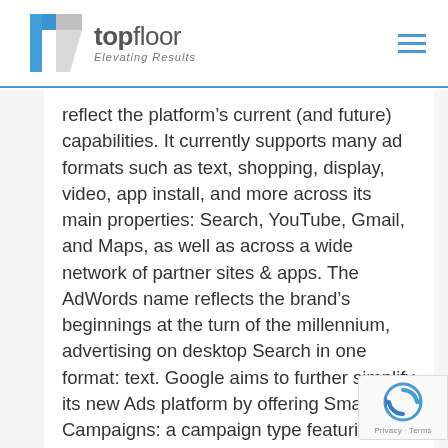[Figure (logo): TopFloor logo with T-shaped blue and grey icon, text 'topfloor Elevating Results' and hamburger menu icon on the right]
reflect the platform's current (and future) capabilities. It currently supports many ad formats such as text, shopping, display, video, app install, and more across its main properties: Search, YouTube, Gmail, and Maps, as well as across a wide network of partner sites & apps. The AdWords name reflects the brand's beginnings at the turn of the millennium, advertising on desktop Search in one format: text. Google aims to further simplify its new Ads platform by offering Smart Campaigns: a campaign type featuring automated ad creative, targeting and delivery that is powered by machine